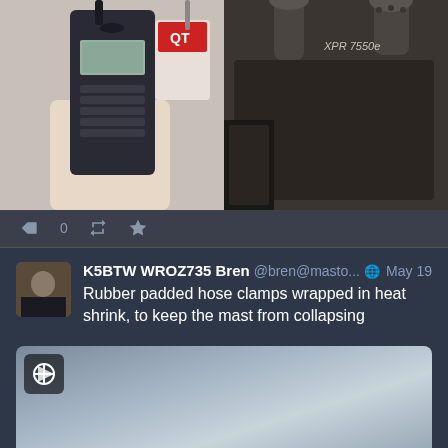[Figure (photo): Two photos of Motorola XPR 7550e radios: left image shows a hand holding a Motorola DMR radio next to a QuikTrip (QT) cup; right image shows a close-up of an XPR 7550e radio label]
0
K5BTW WROZ735 Bren @bren@masto... May 19
Rubber padded hose clamps wrapped in heat shrink, to keep the mast from collapsing
[Figure (photo): Blurred/loading media preview image with a video player overlay icon in the top-left corner, showing a blurred gradient image]